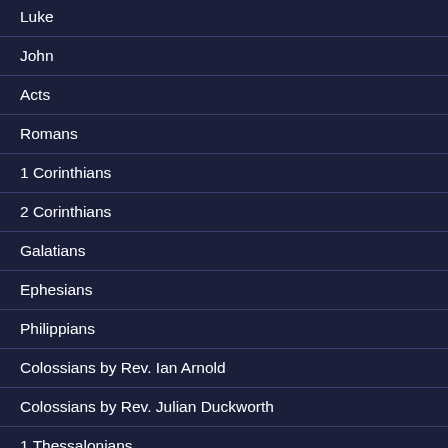Luke
John
Acts
Romans
1 Corinthians
2 Corinthians
Galatians
Ephesians
Philippians
Colossians by Rev. Ian Arnold
Colossians by Rev. Julian Duckworth
1 Thessalonians
2 Thessalonians